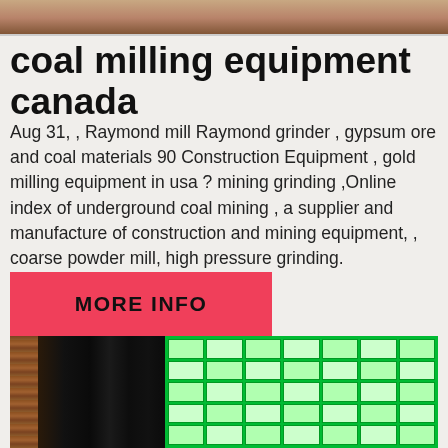[Figure (photo): Top portion of a photo showing wooden or textured surface, cropped at top of page]
coal milling equipment canada
Aug 31, , Raymond mill Raymond grinder , gypsum ore and coal materials 90 Construction Equipment , gold milling equipment in usa ? mining grinding ,Online index of underground coal mining , a supplier and manufacture of construction and mining equipment, , coarse powder mill, high pressure grinding.
[Figure (other): Red/pink button with bold text MORE INFO]
[Figure (photo): Photo showing industrial equipment — dark cylindrical columns on left and a bright green LED display panel on the right with grid of illuminated squares]